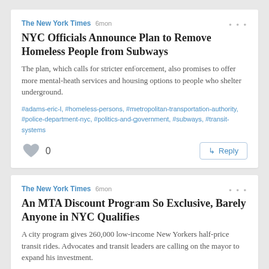The New York Times 6mon
NYC Officials Announce Plan to Remove Homeless People from Subways
The plan, which calls for stricter enforcement, also promises to offer more mental-heath services and housing options to people who shelter underground.
#adams-eric-l, #homeless-persons, #metropolitan-transportation-authority, #police-department-nyc, #politics-and-government, #subways, #transit-systems
The New York Times 6mon
An MTA Discount Program So Exclusive, Barely Anyone in NYC Qualifies
A city program gives 260,000 low-income New Yorkers half-price transit rides. Advocates and transit leaders are calling on the mayor to expand his investment.
#adams-eric-l, #city-council-nyc, #community-service-society-of-new-york, #income-inequality, #metrocard-nyc, #metropolitan-transportation-authority, #new-york-city, #poverty, #prices-fares-fees-and-rates, #riders-alliance, #subways, #transit-systems, #urban-institute